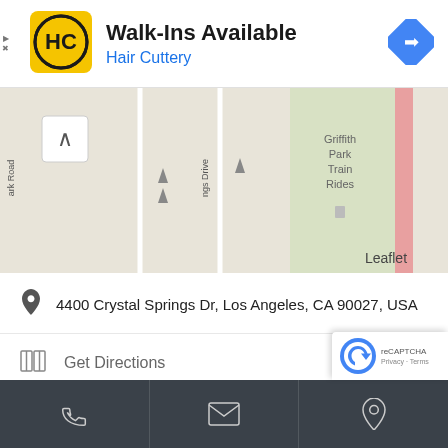[Figure (screenshot): Hair Cuttery ad banner with logo showing HC in yellow/black circle, title 'Walk-Ins Available', subtitle 'Hair Cuttery' in blue, and a blue diamond navigation arrow icon on the right]
[Figure (map): Leaflet map showing Griffith Park area with Crystal Springs Drive, park roads, Griffith Park Train Rides label, and a pink road on the right edge]
4400 Crystal Springs Dr, Los Angeles, CA 90027, USA
Get Directions
(323) 664-6788
[Figure (screenshot): Bottom navigation bar in dark gray with phone, email, and location icons. reCAPTCHA badge with Privacy and Terms links.]